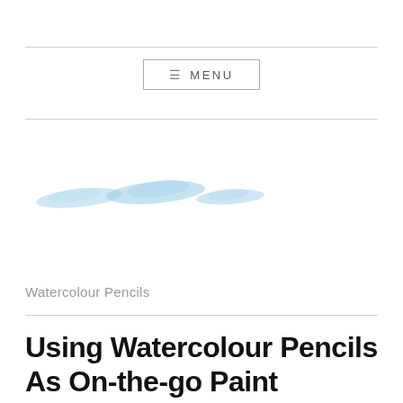≡ MENU
[Figure (illustration): Watercolour pencil strokes in light blue forming three wave/hill shapes on a white background, serving as a blog logo or decorative banner.]
Watercolour Pencils
Using Watercolour Pencils As On-the-go Paint